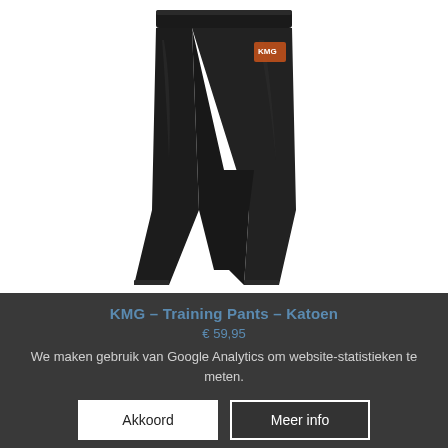[Figure (photo): Product photo of black KMG training pants (Katoen) on white background, displayed as standalone trousers with a small KMG logo on the right thigh area]
KMG – Training Pants – Katoen
We maken gebruik van Google Analytics om website-statistieken te meten.
Akkoord
Meer info